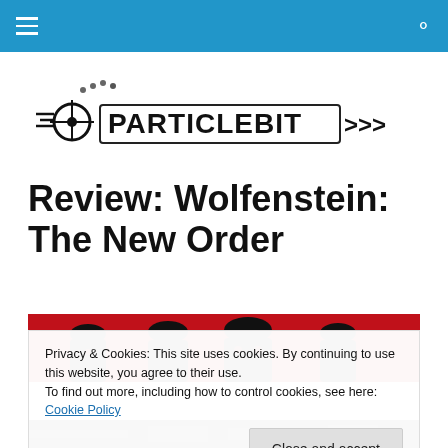Navigation bar with hamburger menu and search icon
[Figure (logo): ParticleBit logo — stylized text with pixel/retro game aesthetic and arrows]
Review: Wolfenstein: The New Order
[Figure (photo): Red and black hero image showing silhouetted armored figures against a red background]
Privacy & Cookies: This site uses cookies. By continuing to use this website, you agree to their use.
To find out more, including how to control cookies, see here: Cookie Policy
Close and accept